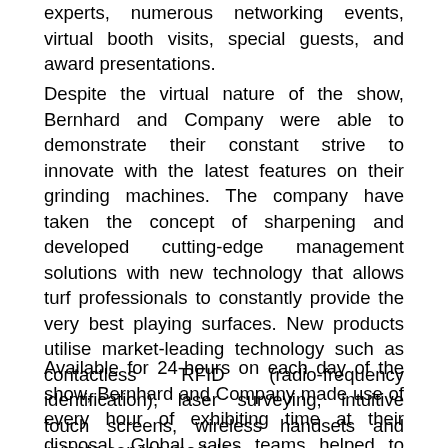experts, numerous networking events, virtual booth visits, special guests, and award presentations.
Despite the virtual nature of the show, Bernhard and Company were able to demonstrate their constant strive to innovate with the latest features on their grinding machines. The company have taken the concept of sharpening and developed cutting-edge management solutions with new technology that allows turf professionals to constantly provide the very best playing surfaces. New products utilise market-leading technology such as contactless RFID (radio-frequency identification), laser surveying, intuitive touch screens, wireless handsets and remote service modules.
Available for 24-hours on each day of the show, Bernhard and Company made use of every hour of exhibiting time at their disposal. Global sales teams helped to manage the exhibition booth round the clock, allowing the company to speak to and welcome visitors from around the world, including